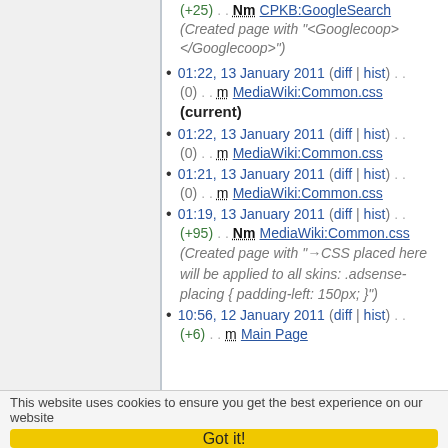(+25) . . Nm CPKB:GoogleSearch (Created page with "<Googlecoop></Googlecoop>")
01:22, 13 January 2011 (diff | hist) . . (0) . . m MediaWiki:Common.css (current)
01:22, 13 January 2011 (diff | hist) . . (0) . . m MediaWiki:Common.css
01:21, 13 January 2011 (diff | hist) . . (0) . . m MediaWiki:Common.css
01:19, 13 January 2011 (diff | hist) . . (+95) . . Nm MediaWiki:Common.css (Created page with "→CSS placed here will be applied to all skins: .adsense-placing { padding-left: 150px; }")
10:56, 12 January 2011 (diff | hist) . . (+6) . . m Main Page
This website uses cookies to ensure you get the best experience on our website
Got it!